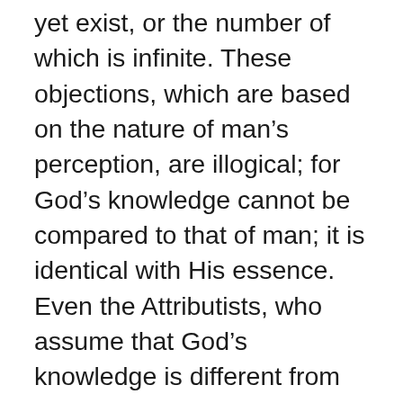yet exist, or the number of which is infinite. These objections, which are based on the nature of man's perception, are illogical; for God's knowledge cannot be compared to that of man; it is identical with His essence. Even the Attributists, who assume that God's knowledge is different from His essence, hold that it is distinguished from man's knowledge in the following five points:—1. It is one, although it embraces a plurality. 2. It includes even such things as do not yet exist. 3. It includes things which are infinite in number. 4. It does not change when new objects of perception present themselves. 5. It does not determine the course of events.—However